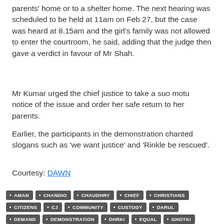parents' home or to a shelter home. The next hearing was scheduled to be held at 11am on Feb 27, but the case was heard at 8.15am and the girl's family was not allowed to enter the courtroom, he said, adding that the judge then gave a verdict in favour of Mr Shah.
Mr Kumar urged the chief justice to take a suo motu notice of the issue and order her safe return to her parents.
Earlier, the participants in the demonstration chanted slogans such as 'we want justice' and 'Rinkle be rescued'.
Courtesy: DAWN
AMAN
CHANDIO
CHAUDHRY
CHIEF
CHRISTIANS
CITIZENS
CJ
COMMUNITY
CUSTODY
DARUL
DEMAND
DEMONSTRATION
DHRKI
EQUAL
GHOTKI
GIRL
HELP
HINDU
IFTIKHAR
ISLAM
JEAY